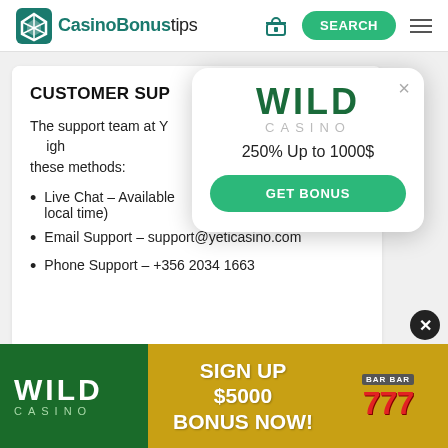CasinoBonustips — SEARCH
CUSTOMER SUP[PORT]
The support team at Y[eti Casino can be reached] through these methods:
Live Chat – Availab[le ... 's local time)
Email Support – support@yeticasino.com
Phone Support – +356 2034 1663
[Figure (screenshot): Wild Casino popup overlay showing '250% Up to 1000$' offer with GET BONUS button]
[Figure (infographic): Wild Casino banner advertisement: SIGN UP $5000 BONUS NOW! with slot machine 777 imagery on yellow-green background]